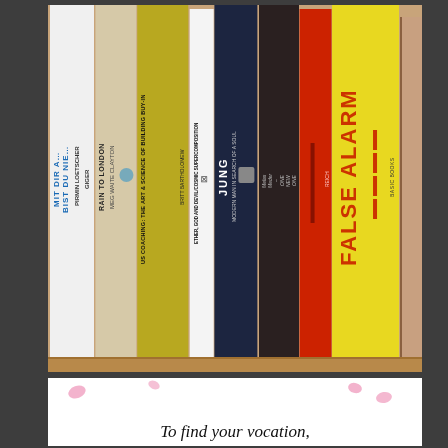[Figure (photo): A photograph of books standing upright on a wooden bookshelf. The spines visible from left to right are: 'MIT DIR A... BIST DU NIE... PIRMIN LOETSCHER GIGER' (white spine, blue text), a beige spine 'BRAIN TO LONDON MEG WAITE CLAYTON', a yellow spine 'US COACHING: THE ART & SCIENCE OF BUILDING BUY-IN BRITT BARTHOLOMEW', a dark spine 'ETHER, GOD AND DEVIL/COSMIC SUPERCOMPOSITION', a blue spine 'JUNG MODERN MAN IN SEARCH OF A SOUL', a dark spine with a small book, a red spine, and a bright yellow spine with 'FALSE ALARM' in large orange letters with 'BASIC BOOKS' at the bottom.]
[Figure (photo): Bottom portion of the page shows a white card/poster with pink floral/blob decorations and cursive text reading 'To find your vocation,' with the text continuing off the bottom edge of the page.]